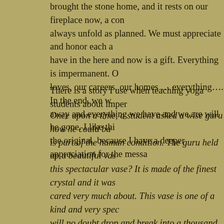brought the stone home, and it rests on our fireplace now, a con always unfold as planned. We must appreciate and honor each a have in the here and now is a gift. Everything is impermanent. O loves, our careers, our homes … everything…. In the end, we w away and everything we have and we are will be gone. I like thi the original, because I have a deeper appreciation for the messa
There is a story I use when teaching yoga students about imper
Once upon a time, a student asked a wise guru how he could ba is part of the human condition. The guru held up a beautiful vas this spectacular vase? It is made of the finest crystal and it was cared very much about. This vase is one of a kind and very spec will no doubt drop and break into a thousand pieces. When it do beautiful vase is broken. I won't grieve and laminate about wha concerned that I'll never have such a beautiful vase again. I wo or the empty space created because the vase is missing from the will not distress on the day this vase is lost, because in my mind But between now and when this vase is actually gone, I will enj the vase every time I look at it, appreciating that this inevitably